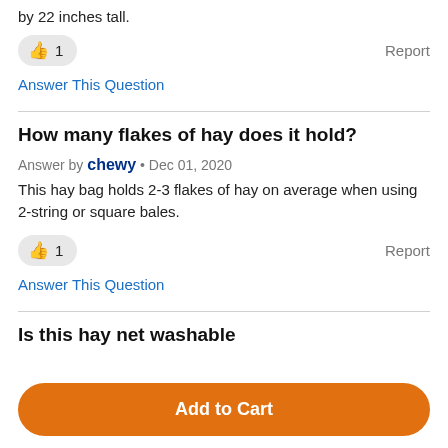by 22 inches tall.
👍 1   Report
Answer This Question
How many flakes of hay does it hold?
Answer by chewy • Dec 01, 2020
This hay bag holds 2-3 flakes of hay on average when using 2-string or square bales.
👍 1   Report
Answer This Question
Is this hay net washable
Add to Cart